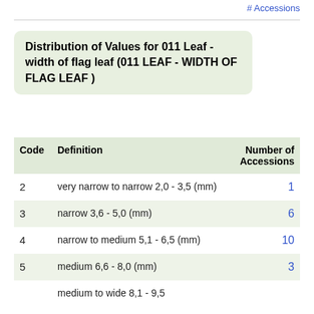# Accessions
Distribution of Values for 011 Leaf - width of flag leaf (011 LEAF - WIDTH OF FLAG LEAF )
| Code | Definition | Number of Accessions |
| --- | --- | --- |
| 2 | very narrow to narrow 2,0 - 3,5 (mm) | 1 |
| 3 | narrow 3,6 - 5,0 (mm) | 6 |
| 4 | narrow to medium 5,1 - 6,5 (mm) | 10 |
| 5 | medium 6,6 - 8,0 (mm) | 3 |
| 6 | medium to wide 8,1 - 9,5 |  |